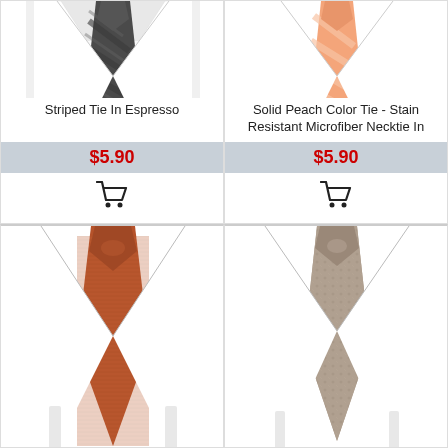[Figure (photo): Striped tie in dark espresso/charcoal color on white dress shirt collar, top portion visible]
Striped Tie In Espresso
$5.90
[Figure (photo): Shopping cart icon]
[Figure (photo): Solid peach color striped tie on white dress shirt collar, top portion visible]
Solid Peach Color Tie - Stain Resistant Microfiber Necktie In
$5.90
[Figure (photo): Shopping cart icon]
[Figure (photo): Solid rust/burnt orange colored necktie with textured weave on white dress shirt, full tie visible]
[Figure (photo): Taupe/tan patterned necktie with subtle textured pattern on white dress shirt, full tie visible]